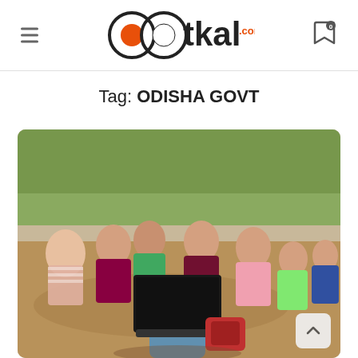OOtkal.com
Tag: ODISHA GOVT
[Figure (photo): Children sitting in a circle outdoors around a student holding an open laptop, in a rural outdoor setting with trees and dirt ground.]